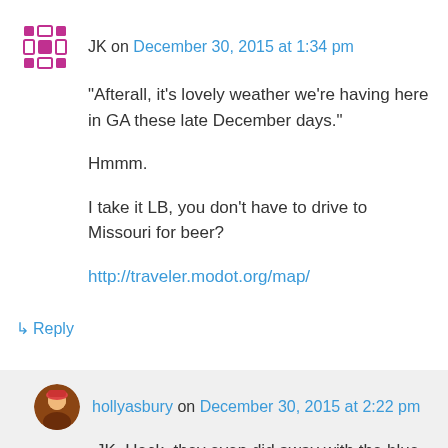JK on December 30, 2015 at 1:34 pm
“Afterall, it’s lovely weather we’re having here in GA these late December days.”
Hmmm.
I take it LB, you don’t have to drive to Missouri for beer?
http://traveler.modot.org/map/
↳ Reply
hollyasbury on December 30, 2015 at 2:22 pm
JK, Heck, they even did away with the blue law prohibiting alcohol sales on Sundays